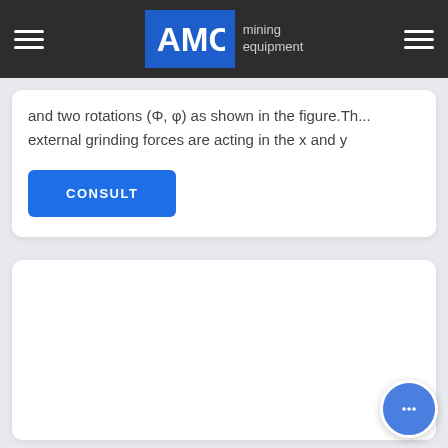AMC mining equipment
and two rotations (Φ, φ) as shown in the figure.Th... external grinding forces are acting in the x and y
CONSULT
[Figure (other): White card area, empty content region below consult button]
[Figure (other): Chat bubble icon with three dots, blue circle button in bottom right corner]